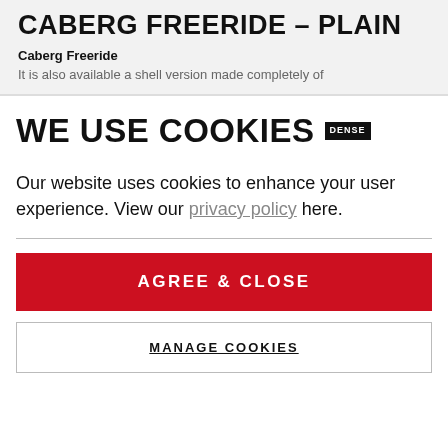CABERG FREERIDE – PLAIN
Caberg Freeride
It is also available a shell version made completely of
WE USE COOKIES DENSE
Our website uses cookies to enhance your user experience. View our privacy policy here.
AGREE & CLOSE
MANAGE COOKIES